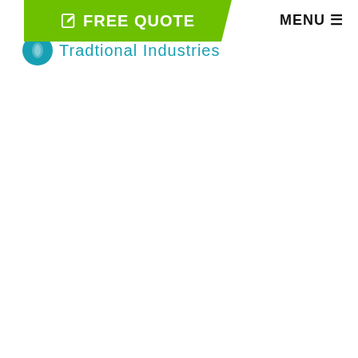FREE QUOTE  MENU
[Figure (logo): Tradional Industries logo with teal circle icon and teal text]